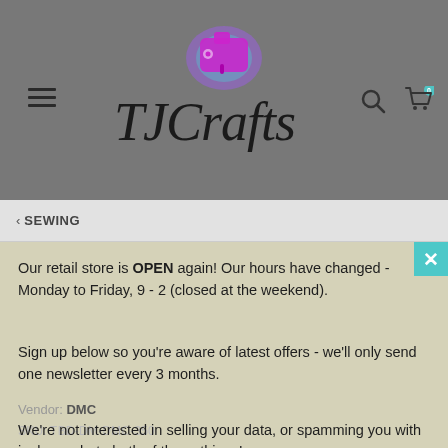[Figure (logo): TJCrafts logo with cursive script text 'TJCrafts' and a purple sewing machine icon above, on a gray background]
< SEWING
Our retail store is OPEN again! Our hours have changed - Monday to Friday, 9 - 2 (closed at the weekend).
Sign up below so you're aware of latest offers - we'll only send one newsletter every 3 months.
Vendor: DMC
We're not interested in selling your data, or spamming you with junk - we hate both of those things!
SKU: TBD-DM-DMC-350